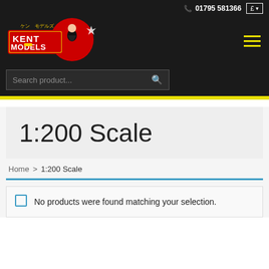📞 01795 581366  £
[Figure (logo): Kent Models logo with Japanese anime characters and red/yellow branding]
Search product...
1:200 Scale
Home > 1:200 Scale
No products were found matching your selection.